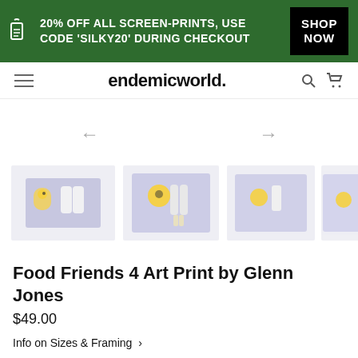20% OFF ALL SCREEN-PRINTS, USE CODE 'SILKY20' DURING CHECKOUT | SHOP NOW
endemicworld.
[Figure (screenshot): Carousel navigation with left and right arrows]
[Figure (screenshot): Product image thumbnails: four art print thumbnails showing 'Food Friends 4' cartoon characters on a purple background]
Food Friends 4 Art Print by Glenn Jones
$49.00
Info on Sizes & Framing >